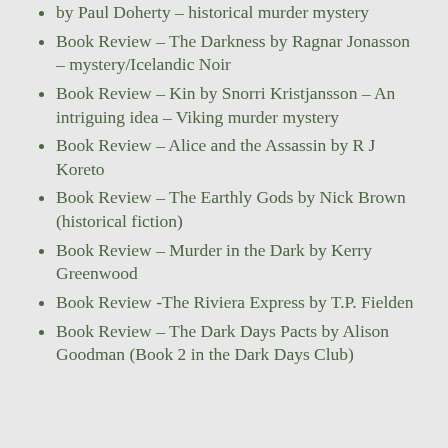by Paul Doherty – historical murder mystery
Book Review – The Darkness by Ragnar Jonasson – mystery/Icelandic Noir
Book Review – Kin by Snorri Kristjansson – An intriguing idea – Viking murder mystery
Book Review – Alice and the Assassin by R J Koreto
Book Review – The Earthly Gods by Nick Brown (historical fiction)
Book Review – Murder in the Dark by Kerry Greenwood
Book Review -The Riviera Express by T.P. Fielden
Book Review – The Dark Days Pacts by Alison Goodman (Book 2 in the Dark Days Club)